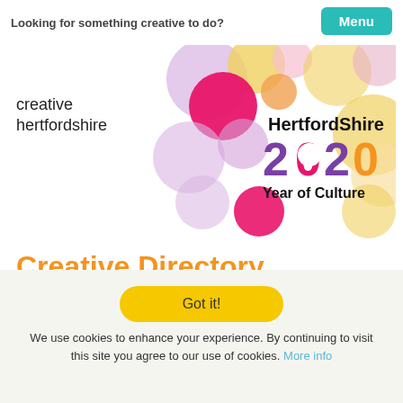Looking for something creative to do?
[Figure (logo): creative hertfordshire logo with colorful overlapping circles and Hertfordshire 2020 Year of Culture branding]
Creative Directory
⚠ The media item requested could not be found
Got it!
We use cookies to enhance your experience. By continuing to visit this site you agree to our use of cookies. More info